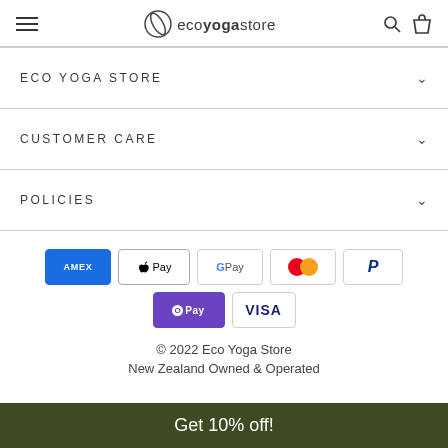eco yoga store
ECO YOGA STORE
CUSTOMER CARE
POLICIES
[Figure (logo): Payment method icons: American Express, Apple Pay, Google Pay, Mastercard, PayPal, OpenPay, Visa]
© 2022 Eco Yoga Store
New Zealand Owned & Operated
Get 10% off!